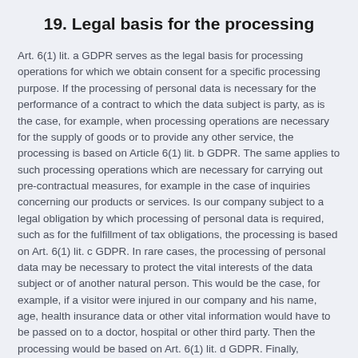19. Legal basis for the processing
Art. 6(1) lit. a GDPR serves as the legal basis for processing operations for which we obtain consent for a specific processing purpose. If the processing of personal data is necessary for the performance of a contract to which the data subject is party, as is the case, for example, when processing operations are necessary for the supply of goods or to provide any other service, the processing is based on Article 6(1) lit. b GDPR. The same applies to such processing operations which are necessary for carrying out pre-contractual measures, for example in the case of inquiries concerning our products or services. Is our company subject to a legal obligation by which processing of personal data is required, such as for the fulfillment of tax obligations, the processing is based on Art. 6(1) lit. c GDPR. In rare cases, the processing of personal data may be necessary to protect the vital interests of the data subject or of another natural person. This would be the case, for example, if a visitor were injured in our company and his name, age, health insurance data or other vital information would have to be passed on to a doctor, hospital or other third party. Then the processing would be based on Art. 6(1) lit. d GDPR. Finally, processing operations could be based on Article 6(1) lit. f GDPR. This legal basis is used for processing operations which are not covered by any of the abovementioned legal grounds, if processing is necessary for the purposes of the legitimate interests pursued by our